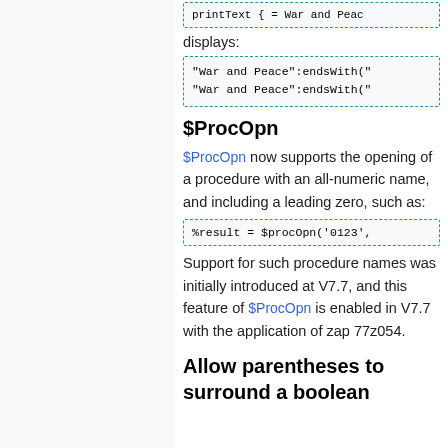[Figure (screenshot): Code block showing: printText { = War and Peace (truncated)]
displays:
[Figure (screenshot): Code block showing: "War and Peace":endsWith(" on two lines]
$ProcOpn
$ProcOpn now supports the opening of a procedure with an all-numeric name, and including a leading zero, such as:
[Figure (screenshot): Code block showing: %result = $procOpn('0123',]
Support for such procedure names was initially introduced at V7.7, and this feature of $ProcOpn is enabled in V7.7 with the application of zap 77z054.
Allow parentheses to surround a boolean